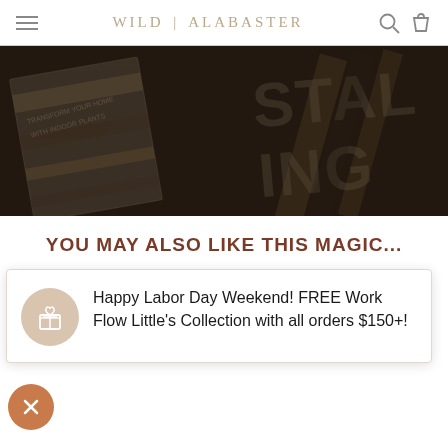WILD | ALABASTER
[Figure (photo): Dark overhead photo of books/publications with diagonal stripe patterns, partially obscured text reading 'TRANSFORM YOUR HOME WITH INDOOR PLANTS' and 'STALING' visible]
YOU MAY ALSO LIKE THIS MAGIC...
Happy Labor Day Weekend! FREE Work Flow Little's Collection with all orders $150+!